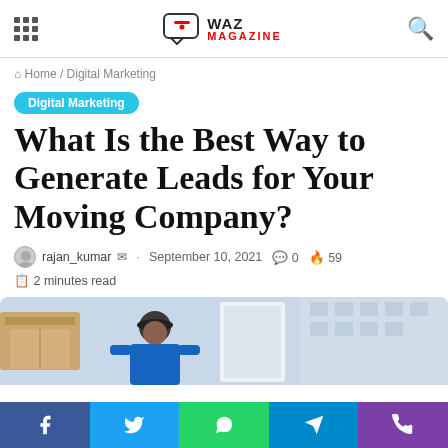WAZ MAGAZINE
Home / Digital Marketing
Digital Marketing
What Is the Best Way to Generate Leads for Your Moving Company?
rajan_kumar · September 10, 2021  0  59
2 minutes read
[Figure (photo): A mover in a blue uniform and cap carrying boxes near a truck]
[Figure (other): Social media share bar with Facebook, Twitter, WhatsApp, Telegram, and phone icons]